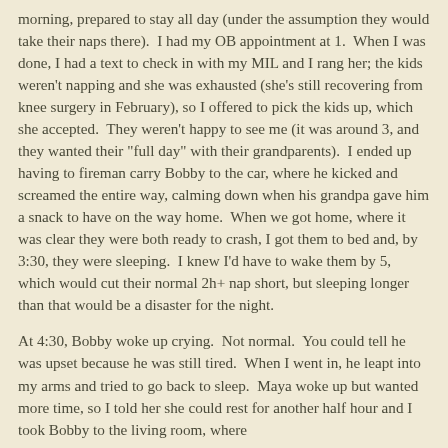morning, prepared to stay all day (under the assumption they would take their naps there).  I had my OB appointment at 1.  When I was done, I had a text to check in with my MIL and I rang her; the kids weren't napping and she was exhausted (she's still recovering from knee surgery in February), so I offered to pick the kids up, which she accepted.  They weren't happy to see me (it was around 3, and they wanted their "full day" with their grandparents).  I ended up having to fireman carry Bobby to the car, where he kicked and screamed the entire way, calming down when his grandpa gave him a snack to have on the way home.  When we got home, where it was clear they were both ready to crash, I got them to bed and, by 3:30, they were sleeping.  I knew I'd have to wake them by 5, which would cut their normal 2h+ nap short, but sleeping longer than that would be a disaster for the night.
At 4:30, Bobby woke up crying.  Not normal.  You could tell he was upset because he was still tired.  When I went in, he leapt into my arms and tried to go back to sleep.  Maya woke up but wanted more time, so I told her she could rest for another half hour and I took Bobby to the living room, where